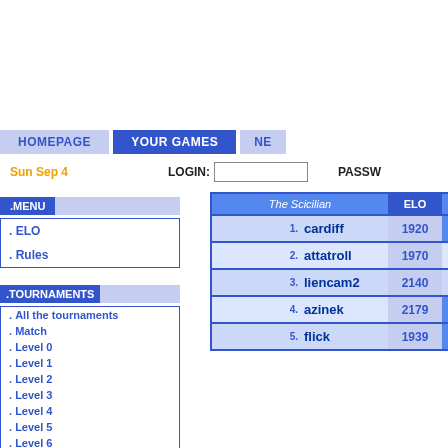HOMEPAGE   YOUR GAMES   NE
Sun Sep 4   LOGIN:   PASSW
.MENU
. ELO
. Rules
.TOURNAMENTS
. All the tournaments
. Match
. Level 0
. Level 1
. Level 2
. Level 3
. Level 4
. Level 5
. Level 6
| The Scicilian | ELO |  |
| --- | --- | --- |
| 1. cardiff | 1920 |  |
| 2. attatroll | 1970 | 0 |
| 3. liencam2 | 2140 | 0 |
| 4. azinek | 2179 |  |
| 5. flick | 1939 |  |